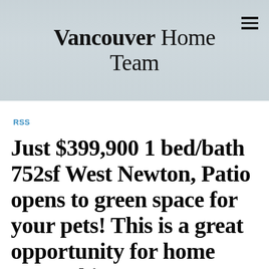[Figure (screenshot): Vancouver Home Team website header banner with kitchen background image, bold brand name 'Vancouver Home Team' centered, and hamburger menu icon top right]
RSS
Just $399,900 1 bed/bath 752sf West Newton, Patio opens to green space for your pets! This is a great opportunity for home ownership